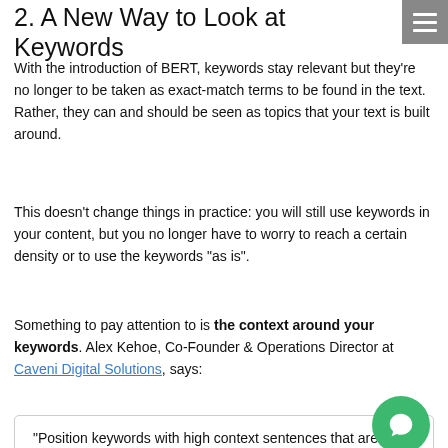2. A New Way to Look at Keywords
With the introduction of BERT, keywords stay relevant but they’re no longer to be taken as exact-match terms to be found in the text. Rather, they can and should be seen as topics that your text is built around.
This doesn’t change things in practice: you will still use keywords in your content, but you no longer have to worry to reach a certain density or to use the keywords “as is”.
Something to pay attention to is the context around your keywords. Alex Kehoe, Co-Founder & Operations Director at Caveni Digital Solutions, says:
“Position keywords with high context sentences that are historically associated with your desired keyword. For example, if you wanted to target, “Jogging in Minnesota” you may include sentences about miles, kilometres, or running shoes. All of those phrases and